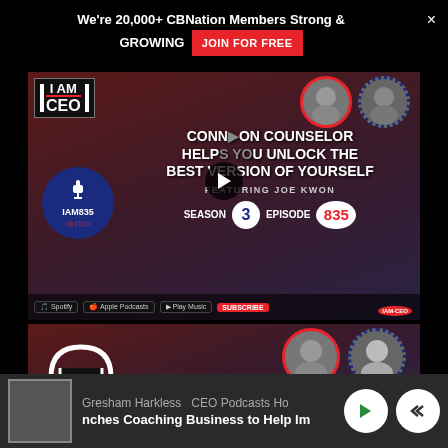We're 20,000+ CBNation Members Strong & GROWING  JOIN FOR FREE
[Figure (screenshot): I AM CEO podcast thumbnail IAM835 - Connection Counselor Helps You Unlock The Best Version Of Yourself, featuring Joe Kwon, Season 3 Episode 835]
[Figure (screenshot): I AM CEO podcast thumbnail with headphones logo, showing two guests in circular portrait frames]
Gresham Harkless   CEO Podcasts Ho   nches Coaching Business to Help Im